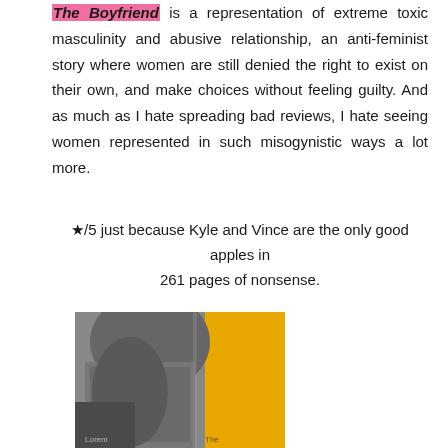The Boyfriend is a representation of extreme toxic masculinity and abusive relationship, an anti-feminist story where women are still denied the right to exist on their own, and make choices without feeling guilty. And as much as I hate spreading bad reviews, I hate seeing women represented in such misogynistic ways a lot more.
★/5 just because Kyle and Vince are the only good apples in 261 pages of nonsense.
[Figure (photo): Book cover of 'The Boyfriend' shown partially - black and white photo of a person's back/shoulder with a yellow section visible, partially cropped at bottom of page.]